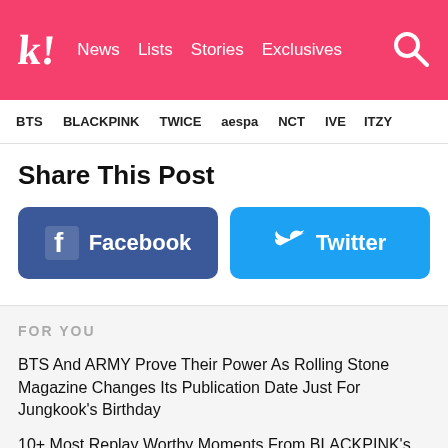k! News Lists Stories Exclusives
BTS   BLACKPINK   TWICE   aespa   NCT   IVE   ITZY
Share This Post
[Figure (other): Facebook share button (blue rounded rectangle with Facebook logo and text 'Facebook')]
[Figure (other): Twitter share button (light blue rounded rectangle with Twitter bird logo and text 'Twitter')]
FOR YOU
BTS And ARMY Prove Their Power As Rolling Stone Magazine Changes Its Publication Date Just For Jungkook's Birthday
10+ Most Replay Worthy Moments From BLACKPINK's "Pink Venom" Dance Practice Video